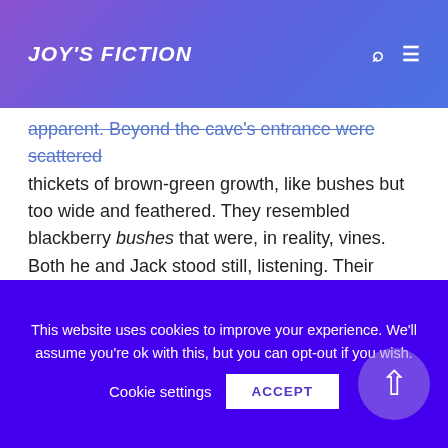JOY'S FICTION
apparent.  Beyond the cave's entrance were scattered thickets of brown-green growth, like bushes but too wide and feathered.  They resembled blackberry bushes that were, in reality, vines.  Both he and Jack stood still, listening.  Their pistols were automatically drawn, with the P90s left to dangle across their field vests.  After two minutes of silence, the men regarded each other.
This website uses cookies to improve your experience. We'll assume you're ok with this, but you can opt-out if you wish.
Cookie settings    ACCEPT